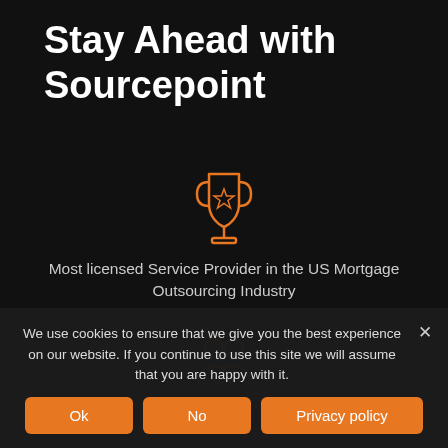Stay Ahead with Sourcepoint
[Figure (illustration): Orange outline trophy icon with a star on it]
Most licensed Service Provider in the US Mortgage Outsourcing Industry
[Figure (illustration): Orange outline icon of two people/users]
We use cookies to ensure that we give you the best experience on our website. If you continue to use this site we will assume that you are happy with it.
Ok
No
Privacy policy